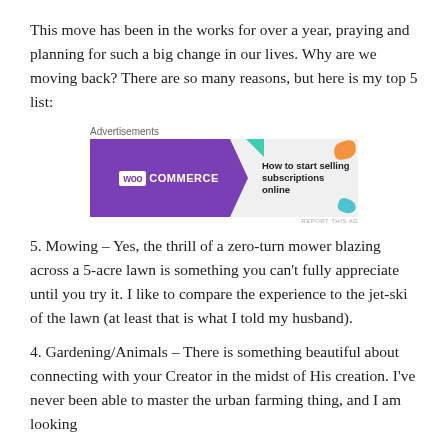This move has been in the works for over a year, praying and planning for such a big change in our lives. Why are we moving back? There are so many reasons, but here is my top 5 list:
[Figure (other): WooCommerce advertisement banner with text 'How to start selling subscriptions online']
5. Mowing – Yes, the thrill of a zero-turn mower blazing across a 5-acre lawn is something you can't fully appreciate until you try it. I like to compare the experience to the jet-ski of the lawn (at least that is what I told my husband).
4. Gardening/Animals – There is something beautiful about connecting with your Creator in the midst of His creation. I've never been able to master the urban farming thing, and I am looking